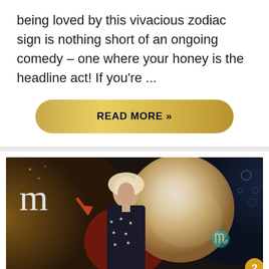being loved by this vivacious zodiac sign is nothing short of an ongoing comedy – one where your honey is the headline act! If you're ...
READ MORE »
[Figure (illustration): A dramatic artistic image showing a woman in a star-patterned jacket against a large glowing orb/moon, with a Scorpio zodiac symbol (m with arrow) in the top-left corner, set against a dark mystical background with golden and blue tones.]